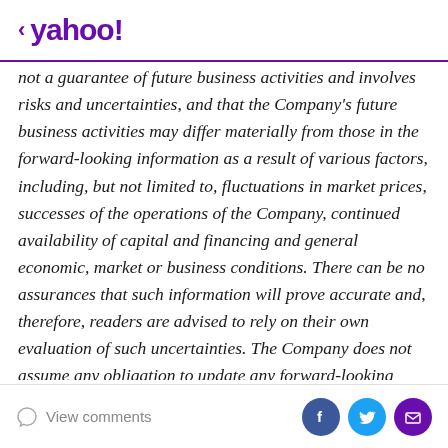< yahoo!
not a guarantee of future business activities and involves risks and uncertainties, and that the Company's future business activities may differ materially from those in the forward-looking information as a result of various factors, including, but not limited to, fluctuations in market prices, successes of the operations of the Company, continued availability of capital and financing and general economic, market or business conditions. There can be no assurances that such information will prove accurate and, therefore, readers are advised to rely on their own evaluation of such uncertainties. The Company does not assume any obligation to update any forward-looking information except as required under
View comments